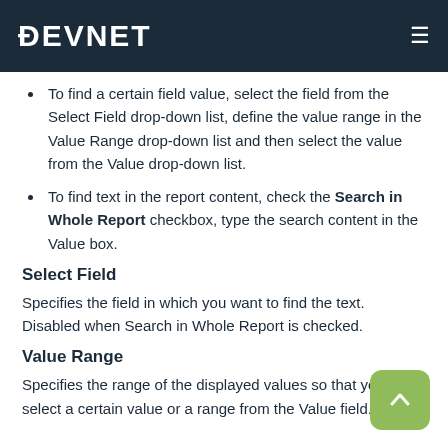DEVNET
To find a certain field value, select the field from the Select Field drop-down list, define the value range in the Value Range drop-down list and then select the value from the Value drop-down list.
To find text in the report content, check the Search in Whole Report checkbox, type the search content in the Value box.
Select Field
Specifies the field in which you want to find the text. Disabled when Search in Whole Report is checked.
Value Range
Specifies the range of the displayed values so that you can select a certain value or a range from the Value field. Disabled